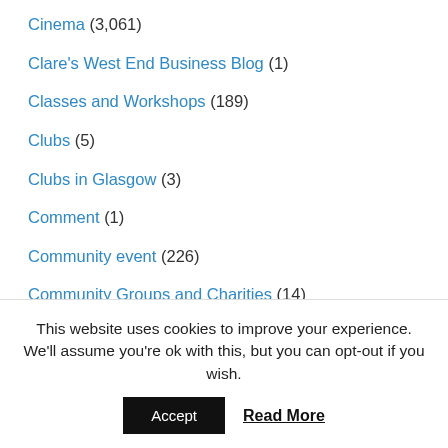Cinema (3,061)
Clare's West End Business Blog (1)
Classes and Workshops (189)
Clubs (5)
Clubs in Glasgow (3)
Comment (1)
Community event (226)
Community Groups and Charities (14)
COP26 Glasgow, Climate Change, Save the Planet, Biodiversity Events (42)
This website uses cookies to improve your experience. We'll assume you're ok with this, but you can opt-out if you wish.